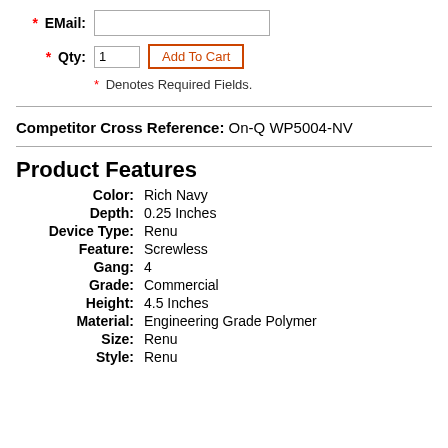* EMail: [input field]
* Qty: 1  Add To Cart
* Denotes Required Fields.
Competitor Cross Reference: On-Q WP5004-NV
Product Features
Color: Rich Navy
Depth: 0.25 Inches
Device Type: Renu
Feature: Screwless
Gang: 4
Grade: Commercial
Height: 4.5 Inches
Material: Engineering Grade Polymer
Size: Renu
Style: Renu